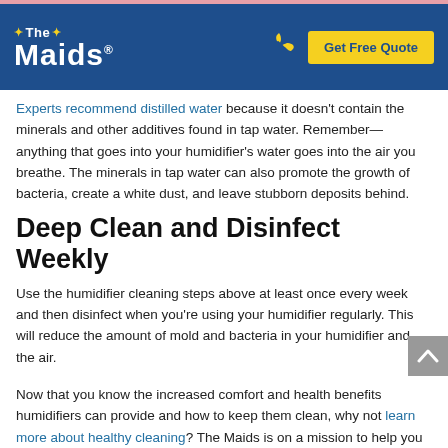The Maids — Get Free Quote
Experts recommend distilled water because it doesn't contain the minerals and other additives found in tap water. Remember—anything that goes into your humidifier's water goes into the air you breathe. The minerals in tap water can also promote the growth of bacteria, create a white dust, and leave stubborn deposits behind.
Deep Clean and Disinfect Weekly
Use the humidifier cleaning steps above at least once every week and then disinfect when you're using your humidifier regularly. This will reduce the amount of mold and bacteria in your humidifier and the air.
Now that you know the increased comfort and health benefits humidifiers can provide and how to keep them clean, why not learn more about healthy cleaning? The Maids is on a mission to help you create a cleaner, healthier home. Check out our popular and convenient cleaning services and get a free estimate online.